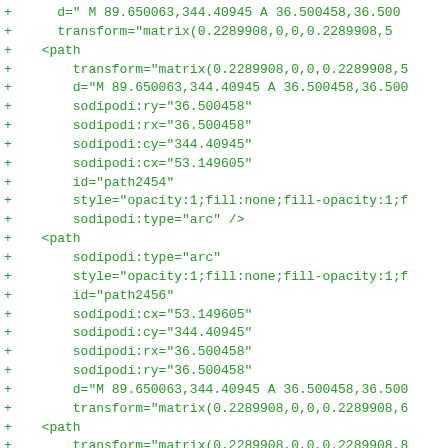Diff view of SVG XML code showing path elements with sodipodi arc attributes and transform matrices